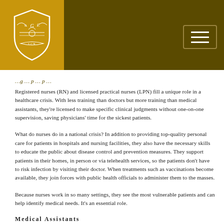[College logo and navigation header]
Registered nurses (RN) and licensed practical nurses (LPN) fill a unique role in a healthcare crisis. With less training than doctors but more training than medical assistants, they're licensed to make specific clinical judgments without one-on-one supervision, saving physicians' time for the sickest patients.
What do nurses do in a national crisis? In addition to providing top-quality personal care for patients in hospitals and nursing facilities, they also have the necessary skills to educate the public about disease control and prevention measures. They support patients in their homes, in person or via telehealth services, so the patients don't have to risk infection by visiting their doctor. When treatments such as vaccinations become available, they join forces with public health officials to administer them to the masses.
Because nurses work in so many settings, they see the most vulnerable patients and can help identify medical needs. It's an essential role.
Medical Assistants
Medical assistants support doctors and nurses in a wide range of healthcare